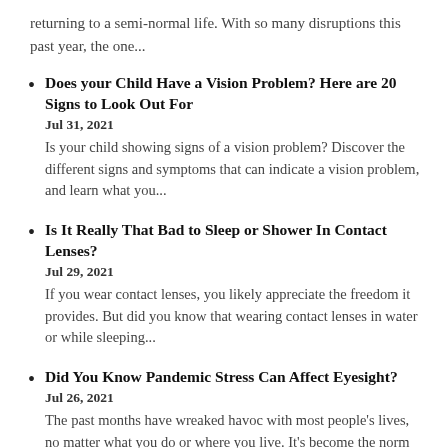returning to a semi-normal life. With so many disruptions this past year, the one...
Does your Child Have a Vision Problem? Here are 20 Signs to Look Out For
Jul 31, 2021
Is your child showing signs of a vision problem? Discover the different signs and symptoms that can indicate a vision problem, and learn what you...
Is It Really That Bad to Sleep or Shower In Contact Lenses?
Jul 29, 2021
If you wear contact lenses, you likely appreciate the freedom it provides. But did you know that wearing contact lenses in water or while sleeping...
Did You Know Pandemic Stress Can Affect Eyesight?
Jul 26, 2021
The past months have wreaked havoc with most people’s lives, no matter what you do or where you live. It’s become the norm to feel...
3 Ways To Unlock Your True Athletic Potential